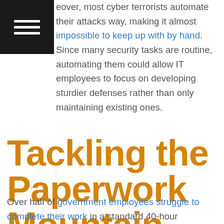eover, most cyber terrorists automate their attacks way, making it almost impossible to keep up with by hand. Since many security tasks are routine, automating them could allow IT employees to focus on developing sturdier defenses rather than only maintaining existing ones.
Tackling the Paperwork Mountain
Over half of government employees struggle to complete their work in a standard 40-hour workweek due to paperwork. In some instances, government workers spend over one-third of their time on